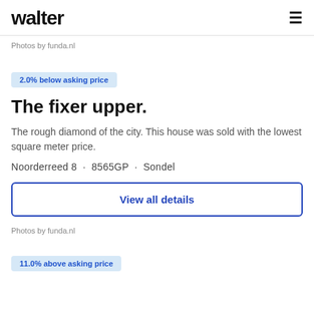walter
Photos by funda.nl
2.0% below asking price
The fixer upper.
The rough diamond of the city. This house was sold with the lowest square meter price.
Noorderreed 8  ·  8565GP  ·  Sondel
View all details
Photos by funda.nl
11.0% above asking price